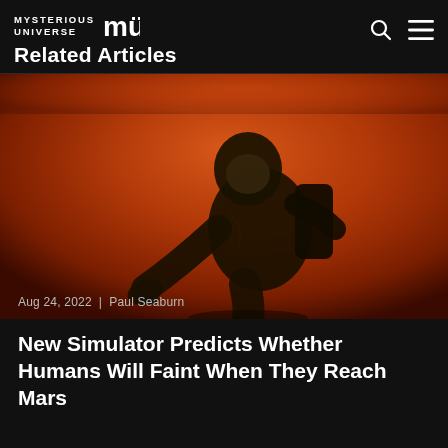MYSTERIOUS UNIVERSE MU — Related Articles
[Figure (photo): Astronaut in a space suit on Mars-like orange/red environment, bending forward, dramatic lighting]
Aug 24, 2022  |  Paul Seaburn
New Simulator Predicts Whether Humans Will Faint When They Reach Mars